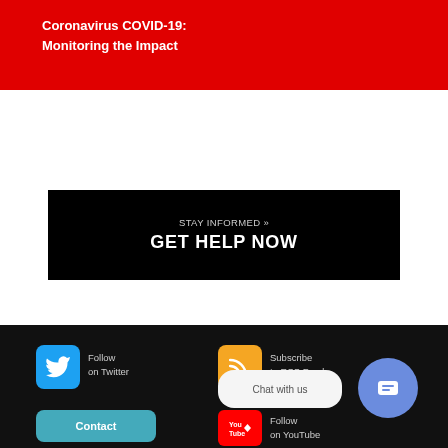Coronavirus COVID-19:
Monitoring the Impact
STAY INFORMED »
GET HELP NOW
Follow on Twitter | Subscribe to RSS Feed | Contact | Follow on YouTube | Chat with us